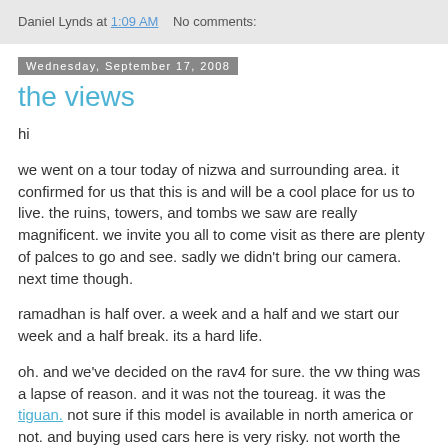Daniel Lynds at 1:09 AM   No comments:
Wednesday, September 17, 2008
the views
hi
we went on a tour today of nizwa and surrounding area. it confirmed for us that this is and will be a cool place for us to live. the ruins, towers, and tombs we saw are really magnificent. we invite you all to come visit as there are plenty of palces to go and see. sadly we didn't bring our camera. next time though.
ramadhan is half over. a week and a half and we start our week and a half break. its a hard life.
oh. and we've decided on the rav4 for sure. the vw thing was a lapse of reason. and it was not the toureag. it was the tiguan. not sure if this model is available in north america or not. and buying used cars here is very risky. not worth the